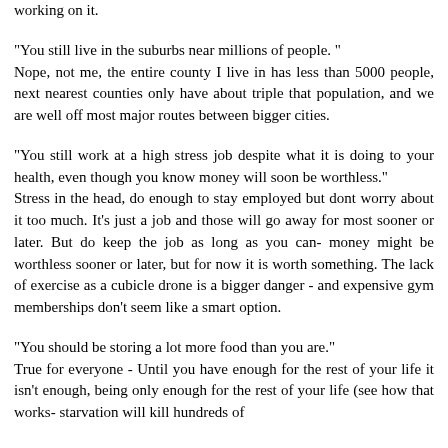working on it.
"You still live in the suburbs near millions of people. "
Nope, not me, the entire county I live in has less than 5000 people, next nearest counties only have about triple that population, and we are well off most major routes between bigger cities.
"You still work at a high stress job despite what it is doing to your health, even though you know money will soon be worthless."
Stress in the head, do enough to stay employed but dont worry about it too much. It's just a job and those will go away for most sooner or later. But do keep the job as long as you can- money might be worthless sooner or later, but for now it is worth something. The lack of exercise as a cubicle drone is a bigger danger - and expensive gym memberships don't seem like a smart option.
"You should be storing a lot more food than you are."
True for everyone - Until you have enough for the rest of your life it isn't enough, being only enough for the rest of your life (see how that works- starvation will kill hundreds of